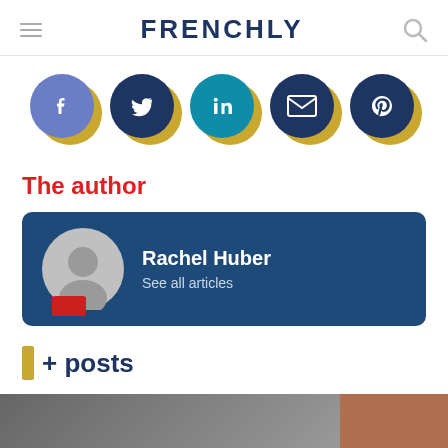FRENCHLY
[Figure (infographic): Row of 5 social media sharing icons: Facebook (blue-purple), Twitter (dark blue), LinkedIn (teal), Email (dark blue), Pinterest (dark blue), each with a gold/yellow shadow offset]
The author
Rachel Huber
See all articles
+ posts
[Figure (photo): Bottom strip showing partial photos, left portion is dark grey/black and white image, right portion is a warm brown/orange toned image]